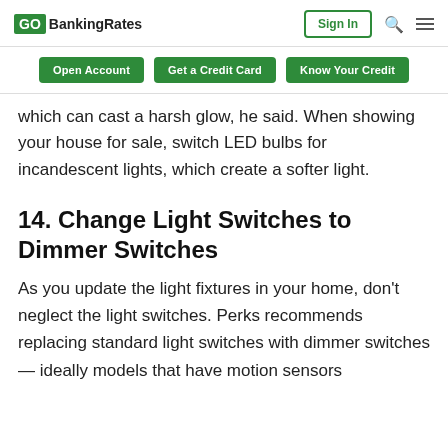GOBankingRates | Sign In
Open Account  Get a Credit Card  Know Your Credit
which can cast a harsh glow, he said. When showing your house for sale, switch LED bulbs for incandescent lights, which create a softer light.
14. Change Light Switches to Dimmer Switches
As you update the light fixtures in your home, don’t neglect the light switches. Perks recommends replacing standard light switches with dimmer switches — ideally models that have motion sensors